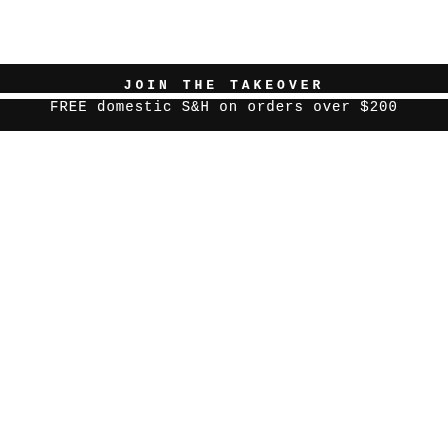JOIN THE TAKEOVER
FREE domestic S&H on orders over $200